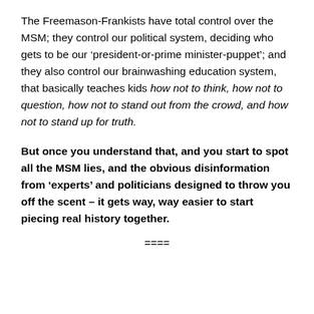The Freemason-Frankists have total control over the MSM; they control our political system, deciding who gets to be our ‘president-or-prime minister-puppet’; and they also control our brainwashing education system, that basically teaches kids how not to think, how not to question, how not to stand out from the crowd, and how not to stand up for truth.
But once you understand that, and you start to spot all the MSM lies, and the obvious disinformation from ‘experts’ and politicians designed to throw you off the scent – it gets way, way easier to start piecing real history together.
====